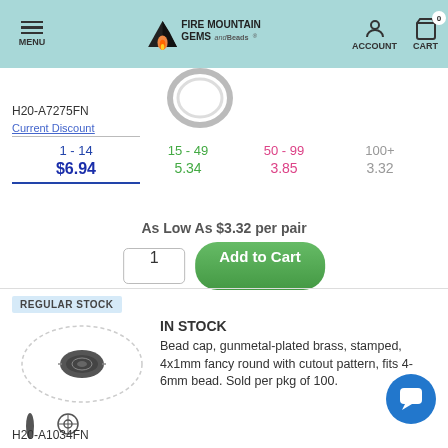Fire Mountain Gems and Beads — MENU | ACCOUNT | CART 0
[Figure (photo): Silver ring/jump ring product thumbnail at top]
H20-A7275FN
| Current Discount | 15 - 49 | 50 - 99 | 100+ |
| --- | --- | --- | --- |
| 1 - 14 | 15 - 49 | 50 - 99 | 100+ |
| $6.94 | 5.34 | 3.85 | 3.32 |
As Low As $3.32 per pair
1  Add to Cart
REGULAR STOCK
[Figure (photo): Gunmetal bead cap oval display with top-down and side views]
IN STOCK
Bead cap, gunmetal-plated brass, stamped, 4x1mm fancy round with cutout pattern, fits 4-6mm bead. Sold per pkg of 100.
H20-A1034FN